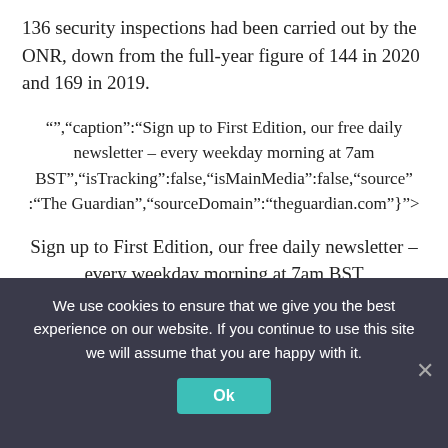136 security inspections had been carried out by the ONR, down from the full-year figure of 144 in 2020 and 169 in 2019.
“”,“caption”:“Sign up to First Edition, our free daily newsletter – every weekday morning at 7am BST”,“isTracking”:false,“isMainMedia”:false,“source”:“The Guardian”,“sourceDomain”:“theguardian.com”}”>
Sign up to First Edition, our free daily newsletter – every weekday morning at 7am BST
Enter your email address  Sign up
We use cookies to ensure that we give you the best experience on our website. If you continue to use this site we will assume that you are happy with it.
Ok